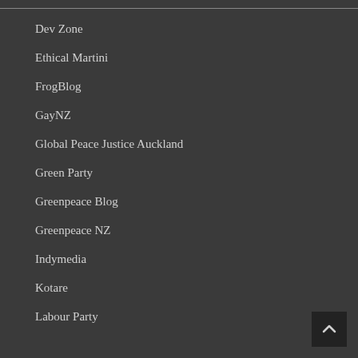Dev Zone
Ethical Martini
FrogBlog
GayNZ
Global Peace Justice Auckland
Green Party
Greenpeace Blog
Greenpeace NZ
Indymedia
Kotare
Labour Party